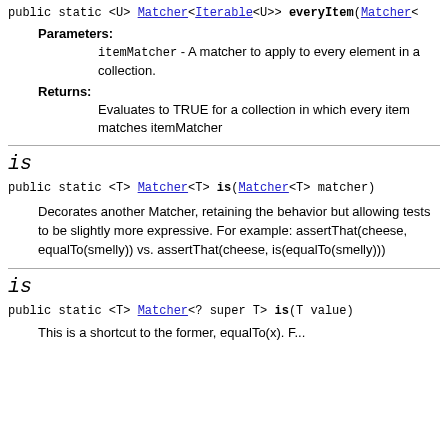public static <U> Matcher<Iterable<U>> everyItem(Matcher<
Parameters:
itemMatcher - A matcher to apply to every element in a collection.
Returns:
Evaluates to TRUE for a collection in which every item matches itemMatcher
is
public static <T> Matcher<T> is(Matcher<T> matcher)
Decorates another Matcher, retaining the behavior but allowing tests to be slightly more expressive. For example: assertThat(cheese, equalTo(smelly)) vs. assertThat(cheese, is(equalTo(smelly)))
is
public static <T> Matcher<? super T> is(T value)
This is a shortcut to the former, equalTo(x). F...